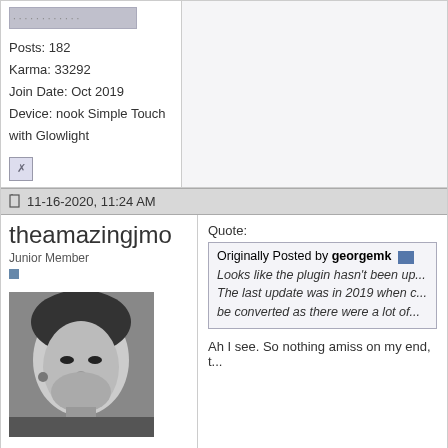Posts: 182
Karma: 33292
Join Date: Oct 2019
Device: nook Simple Touch with Glowlight
[Figure (screenshot): Broken image icon placeholder]
11-16-2020, 11:24 AM
theamazingjmo
Junior Member
[Figure (photo): Black and white portrait photo of user theamazingjmo]
Posts: 6
Karma: 10
Join Date: Sep 2014
Location: Ohio
Device: Paperwhite 2
Quote:
Originally Posted by georgemk
Looks like the plugin hasn't been up...
The last update was in 2019 when c...
be converted as there were a lot of...
Ah I see. So nothing amiss on my end, t...